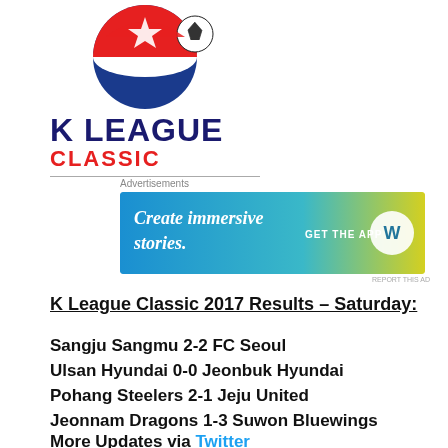[Figure (logo): K League Classic logo with circular emblem featuring red/blue/white design with soccer ball, text K LEAGUE in dark navy bold, CLASSIC in red bold, with horizontal rule underneath]
[Figure (screenshot): Advertisement banner: gradient blue-to-yellow background, white text 'Create immersive stories.' with 'GET THE APP' and WordPress logo on right]
K League Classic 2017 Results – Saturday:
Sangju Sangmu 2-2 FC Seoul
Ulsan Hyundai 0-0 Jeonbuk Hyundai
Pohang Steelers 2-1 Jeju United
Jeonnam Dragons 1-3 Suwon Bluewings
More Updates via Twitter